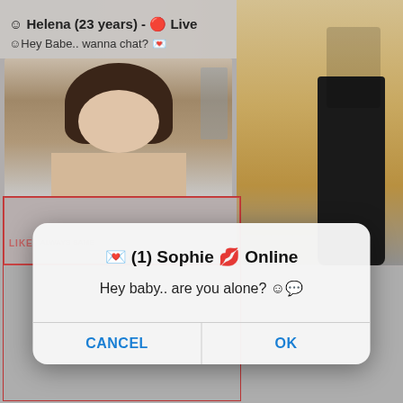[Figure (screenshot): Screenshot of an online advertisement with overlapping browser content. Background shows a blurred video/image with a person, a tan/beige fashion image on the right. An ad banner at top reads 'Ads By ClickAdilla' with a close X button. Below shows ad content: emoji face icon, 'Helena (23 years) - emoji Live', 'Hey Babe.. wanna chat? emoji'. A dialog popup box is overlaid in the center reading: 'emoji (1) Sophie emoji Online', 'Hey baby.. are you alone? emoji', with CANCEL and OK buttons. Bottom portion is gray.]